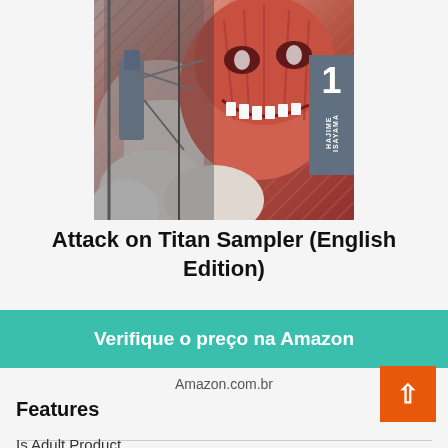[Figure (illustration): Cover art of Attack on Titan manga volume 1 showing a large titan face and a soldier with maneuvering equipment, with a teal/grey volume badge showing '1' and 'HAJIME ISAYAMA']
Attack on Titan Sampler (English Edition)
Verifique o preço na Amazon
Amazon.com.br
Features
Is Adult Product